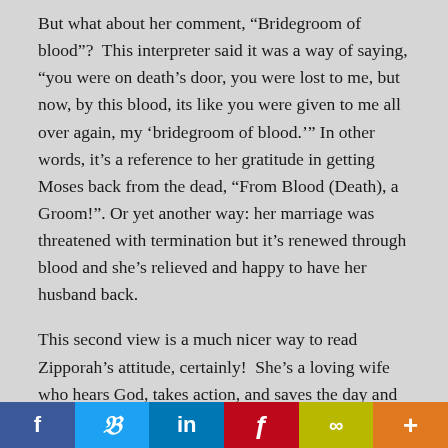But what about her comment, “Bridegroom of blood”?  This interpreter said it was a way of saying, “you were on death’s door, you were lost to me, but now, by this blood, its like you were given to me all over again, my ‘bridegroom of blood.’” In other words, it’s a reference to her gratitude in getting Moses back from the dead, “From Blood (Death), a Groom!”. Or yet another way: her marriage was threatened with termination but it’s renewed through blood and she’s relieved and happy to have her husband back.
This second view is a much nicer way to read Zipporah’s attitude, certainly!  She’s a loving wife who hears God, takes action, and saves the day and is thrilled with her husband’s recovery vs. begrudging rescuer not at all thrilled with her man.
But either way, the passage has this to say:  Moses has clearly
f  𝑓  in  ƒ  ∞  +